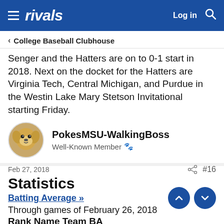rivals | Log in
< College Baseball Clubhouse
Senger and the Hatters are on to 0-1 start in 2018. Next on the docket for the Hatters are Virginia Tech, Central Michigan, and Purdue in the Westin Lake Mary Stetson Invitational starting Friday.
PokesMSU-WalkingBoss
Well-Known Member
Feb 27, 2018  #16
Statistics
Batting Average »
Through games of February 26, 2018
Rank Name Team BA